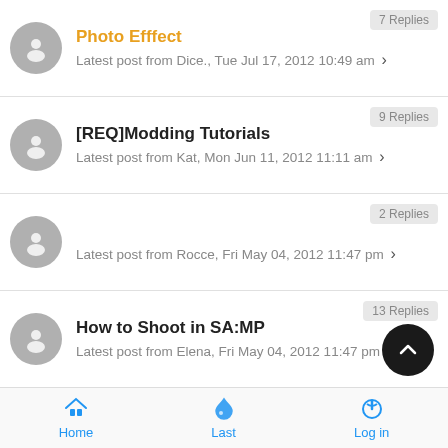Photo Efffect — 7 Replies — Latest post from Dice., Tue Jul 17, 2012 10:49 am
[REQ]Modding Tutorials — 9 Replies — Latest post from Kat, Mon Jun 11, 2012 11:11 am
2 Replies — Latest post from Rocce, Fri May 04, 2012 11:47 pm
How to Shoot in SA:MP — 13 Replies — Latest post from Elena, Fri May 04, 2012 11:47 pm
SAMP usefull tools — 2 Replies — Latest post from peanutt, Fri Apr 20, 2012 7:53 am
Home   Last   Log in